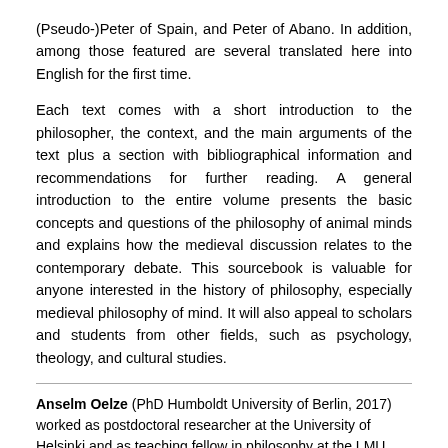(Pseudo-)Peter of Spain, and Peter of Abano. In addition, among those featured are several translated here into English for the first time.
Each text comes with a short introduction to the philosopher, the context, and the main arguments of the text plus a section with bibliographical information and recommendations for further reading. A general introduction to the entire volume presents the basic concepts and questions of the philosophy of animal minds and explains how the medieval discussion relates to the contemporary debate. This sourcebook is valuable for anyone interested in the history of philosophy, especially medieval philosophy of mind. It will also appeal to scholars and students from other fields, such as psychology, theology, and cultural studies.
Anselm Oelze (PhD Humboldt University of Berlin, 2017) worked as postdoctoral researcher at the University of Helsinki and as teaching fellow in philosophy at the LMU